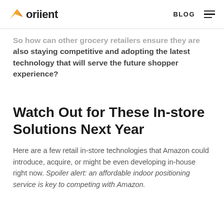oriient | BLOG
So how can other grocery retailers ensure they are also staying competitive and adopting the latest technology that will serve the future shopper experience?
Watch Out for These In-store Solutions Next Year
Here are a few retail in-store technologies that Amazon could introduce, acquire, or might be even developing in-house right now. Spoiler alert: an affordable indoor positioning service is key to competing with Amazon.